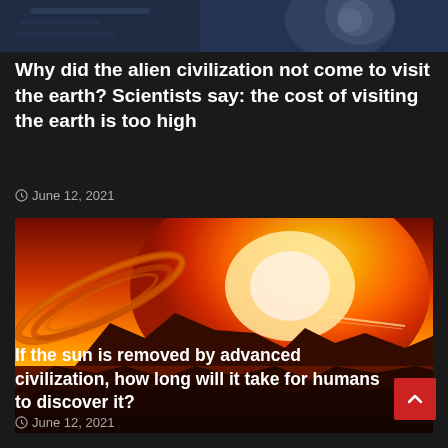[Figure (photo): Partial view of alien/robot imagery at top of page, dark blue tones]
Why did the alien civilization not come to visit the earth? Scientists say: the cost of visiting the earth is too high
June 12, 2021
[Figure (illustration): Science fiction illustration of a fiery alien landscape with red/orange sky and giant sun, rocky terrain in foreground]
If the sun is removed by advanced civilization, how long will it take for humans to discover it?
June 12, 2021